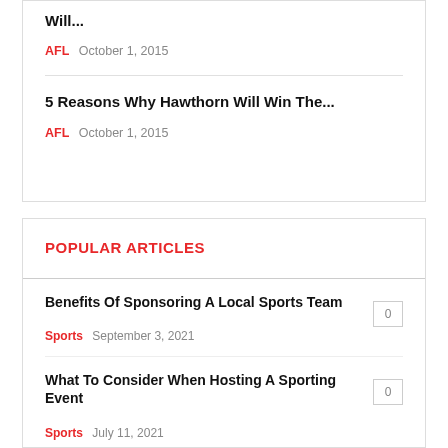Will...
AFL   October 1, 2015
5 Reasons Why Hawthorn Will Win The...
AFL   October 1, 2015
POPULAR ARTICLES
Benefits Of Sponsoring A Local Sports Team
Sports   September 3, 2021   0
What To Consider When Hosting A Sporting Event
Sports   July 11, 2021   0
British Asian Rugby Association (BARA)